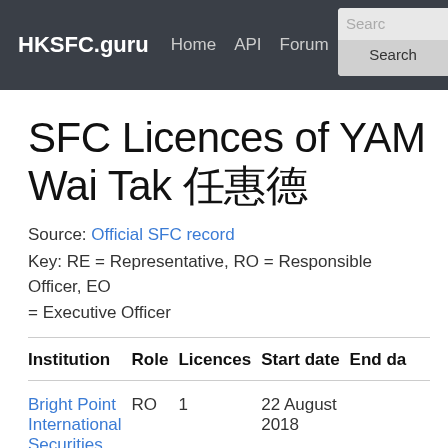HKSFC.guru   Home   API   Forum   Contact   Search   Search
SFC Licences of YAM Wai Tak 任惠德
Source: Official SFC record
Key: RE = Representative, RO = Responsible Officer, EO = Executive Officer
| Institution | Role | Licences | Start date | End date |
| --- | --- | --- | --- | --- |
| Bright Point International Securities Limited 光勝國際證券有限公司 | RO | 1 | 22 August 2018 |  |